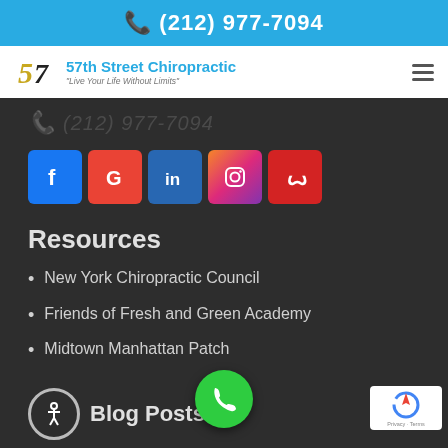(212) 977-7094
57th Street Chiropractic
"Live Your Life Without Limits"
(212) 977-7094
[Figure (other): Social media icon buttons: Facebook, Google, LinkedIn, Instagram, Yelp]
Resources
New York Chiropractic Council
Friends of Fresh and Green Academy
Midtown Manhattan Patch
Blog Posts